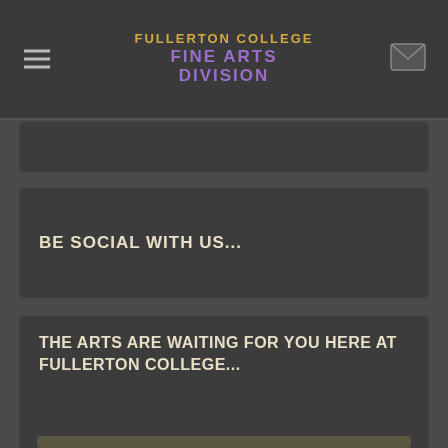FULLERTON COLLEGE FINE ARTS DIVISION
BE SOCIAL WITH US...
THE ARTS ARE WAITING FOR YOU HERE AT FULLERTON COLLEGE...
[Figure (photo): A person leaning over and working intently, wearing glasses and a grey shirt, in what appears to be an art studio or workshop setting]